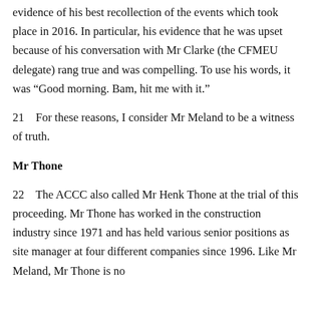evidence of his best recollection of the events which took place in 2016. In particular, his evidence that he was upset because of his conversation with Mr Clarke (the CFMEU delegate) rang true and was compelling. To use his words, it was “Good morning. Bam, hit me with it.”
21    For these reasons, I consider Mr Meland to be a witness of truth.
Mr Thone
22    The ACCC also called Mr Henk Thone at the trial of this proceeding. Mr Thone has worked in the construction industry since 1971 and has held various senior positions as site manager at four different companies since 1996. Like Mr Meland, Mr Thone is no